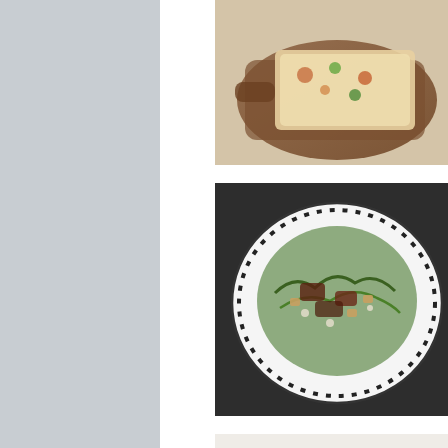[Figure (photo): Food photo: flatbread or pizza on a wooden cutting board, partially cropped at top]
[Figure (photo): Food photo: The Deconstructed Reuben - salad on a black and white dotted plate]
The Deconstructed Reuben
[Figure (photo): Food photo: New Year's Eve Party Eats - spring rolls and items on a wooden board]
New Year's Eve Party Eats
[Figure (photo): Food photo: Orange Bamboo Tofu Sushi - sushi rolls on a bamboo mat]
Orange Bamboo Tofu Sushi
[Figure (photo): Food photo: After-Thanksgiving Day dish, partially visible at bottom]
After-Thanksgiving Day